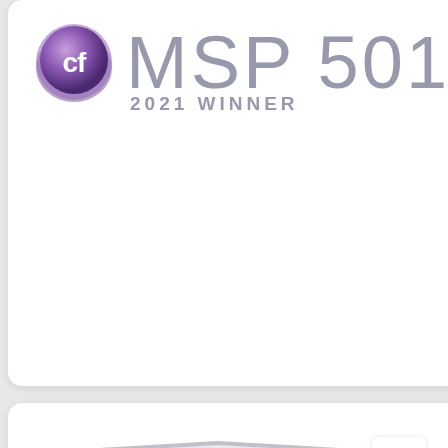[Figure (logo): Channel Futures MSP 501 2021 Winner badge with purple CF logo circle and large grey MSP 501 text]
[Figure (logo): HIPAA Seal of Compliance badge from Compliancy Group with shield and HIPAA VERIFIED blue rectangle]